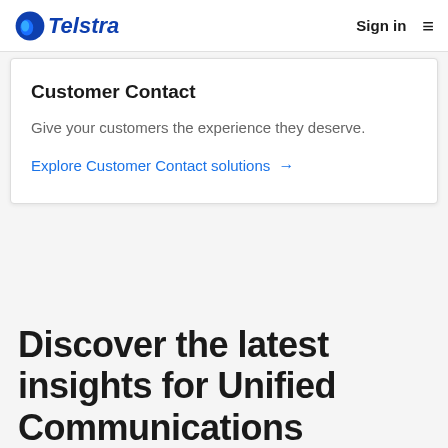Telstra  Sign in ≡
Customer Contact
Give your customers the experience they deserve.
Explore Customer Contact solutions →
Discover the latest insights for Unified Communications